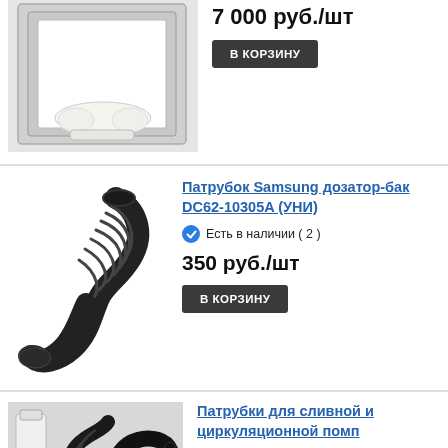[Figure (photo): Washing machine door glass gasket / seal frame, white rubber, shown from front]
7 000 руб./шт
В КОРЗИНУ
[Figure (photo): Black rubber corrugated hose/patrubok Samsung DC62-10305A]
Патрубок Samsung дозатор-бак DC62-10305A (УНИ)
Есть в наличии ( 2 )
350 руб./шт
В КОРЗИНУ
[Figure (photo): Various drain and circulation pump hoses/parts for washing machines]
Патрубки для сливной и циркуляционной помп